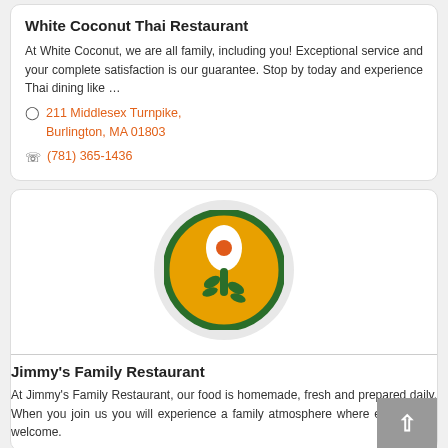White Coconut Thai Restaurant
At White Coconut, we are all family, including you! Exceptional service and your complete satisfaction is our guarantee. Stop by today and experience Thai dining like …
211 Middlesex Turnpike, Burlington, MA 01803
(781) 365-1436
[Figure (logo): Jimmy's Family Restaurant logo: a spoon with a leaf/plant design on a gold/yellow circle with dark green border, on a light grey circular background]
Jimmy's Family Restaurant
At Jimmy's Family Restaurant, our food is homemade, fresh and prepared daily. When you join us you will experience a family atmosphere where everyone is welcome.